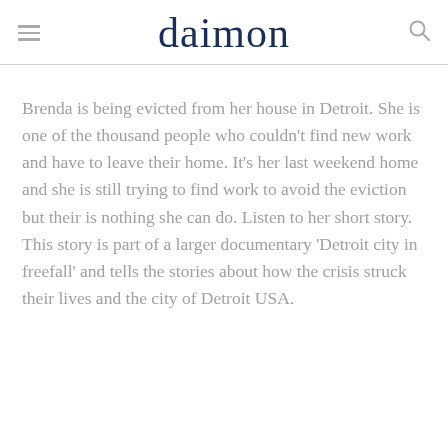daimon
Brenda is being evicted from her house in Detroit. She is one of the thousand people who couldn't find new work and have to leave their home. It's her last weekend home and she is still trying to find work to avoid the eviction but their is nothing she can do. Listen to her short story. This story is part of a larger documentary 'Detroit city in freefall' and tells the stories about how the crisis struck their lives and the city of Detroit USA.